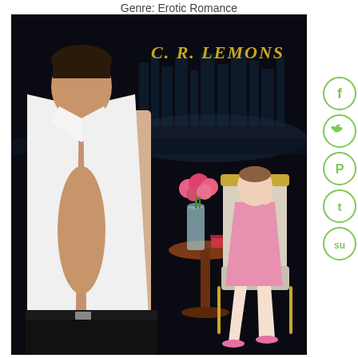Genre: Erotic Romance
[Figure (illustration): Book cover for C. R. Lemons erotic romance novel. Dark background with city skyline at night. A muscular man in an open white dress shirt and dark pants stands in the foreground. In the background, a woman in a pink dress sits in a gold-trimmed white chair beside a round wooden table with a vase of pink roses. Author name 'C. R. LEMONS' in gold text at the top right.]
[Figure (infographic): Vertical column of four green circular social media icon buttons on the right side: Facebook (f), Twitter (bird), Pinterest (P), Tumblr (t), and StumbleUpon (su).]